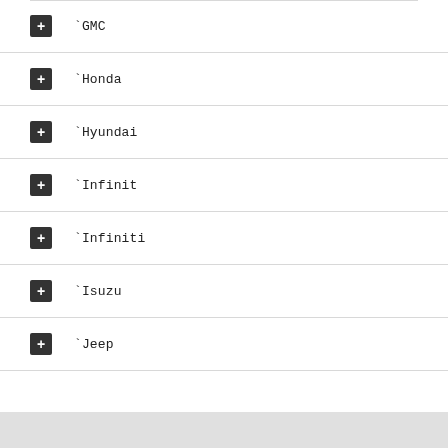GMC
Honda
Hyundai
Infinit
Infiniti
Isuzu
Jeep